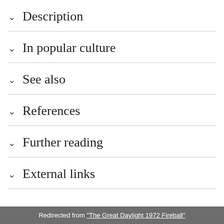Description
In popular culture
See also
References
Further reading
External links
Redirected from "The Great Daylight 1972 Fireball"